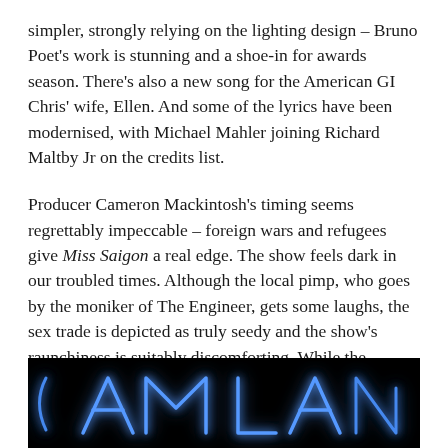simpler, strongly relying on the lighting design – Bruno Poet's work is stunning and a shoe-in for awards season. There's also a new song for the American GI Chris' wife, Ellen. And some of the lyrics have been modernised, with Michael Mahler joining Richard Maltby Jr on the credits list.
Producer Cameron Mackintosh's timing seems regrettably impeccable – foreign wars and refugees give Miss Saigon a real edge. The show feels dark in our troubled times. Although the local pimp, who goes by the moniker of The Engineer, gets some laughs, the sex trade is depicted as truly seedy and the show's raunchiness is suitably discomforting. While the famous helicopter still wows, it doesn't detract from the terror of the scene where the Vietnamese who have helped the Americans are left behind to face their fate. It's all suitably serious.
[Figure (photo): Dark image with neon blue letters partially visible spelling what appears to be 'AM LA' (part of a neon sign, likely 'SAIGON' or similar), on a black background.]